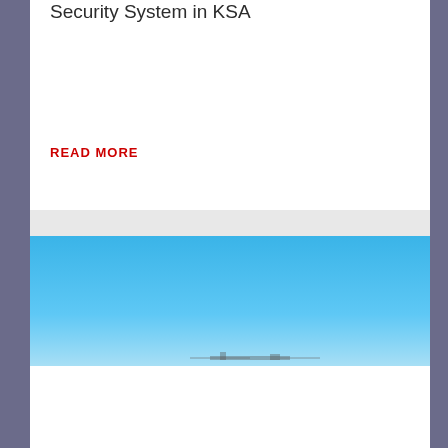... to Build Comprehensive Water Security System in KSA
READ MORE
[Figure (photo): Outdoor industrial or desert landscape under a clear blue sky, faint silhouette of structures near the bottom]
Aramco's Haradh, Hawiyah Gas Projects to Come Onstream by Year-end
READ MORE